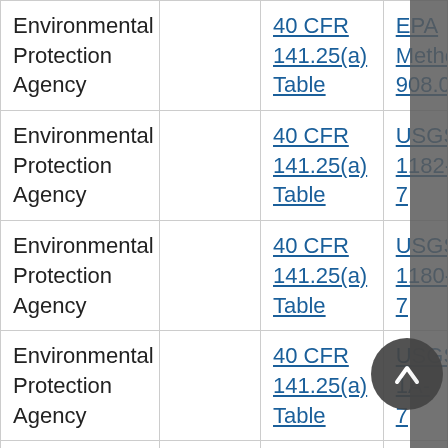| Environmental Protection Agency |  | 40 CFR 141.25(a) Table | EPA Metho 908.0+ |
| Environmental Protection Agency |  | 40 CFR 141.25(a) Table | USGS 1182-7 |
| Environmental Protection Agency |  | 40 CFR 141.25(a) Table | USGS 1180-7 |
| Environmental Protection Agency |  | 40 CFR 141.25(a) Table | USGS 1A-7 |
| Environmental |  | 40 CFR | EPA |